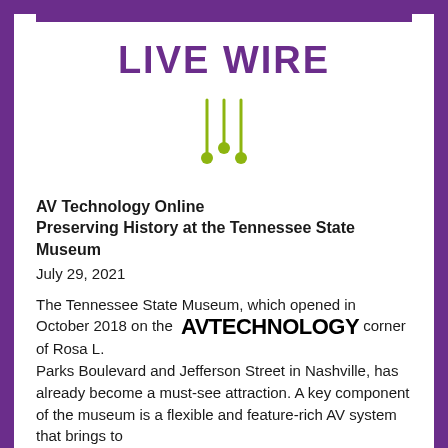LIVE WIRE
[Figure (illustration): Three vertical lines with circular nodes at different heights, rendered in olive/yellow-green color, resembling audio jacks or signal pins icon]
AV Technology Online
Preserving History at the Tennessee State Museum
July 29, 2021
The Tennessee State Museum, which opened in October 2018 on the  AVTECHNOLOGY corner of Rosa L. Parks Boulevard and Jefferson Street in Nashville, has already become a must-see attraction. A key component of the museum is a flexible and feature-rich AV system that brings to